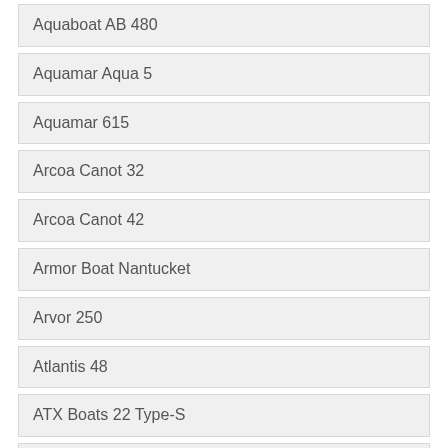Aquaboat AB 480
Aquamar Aqua 5
Aquamar 615
Arcoa Canot 32
Arcoa Canot 42
Armor Boat Nantucket
Arvor 250
Atlantis 48
ATX Boats 22 Type-S
Axis A 20
Azimut Atlantis 45
Azure AZ 259